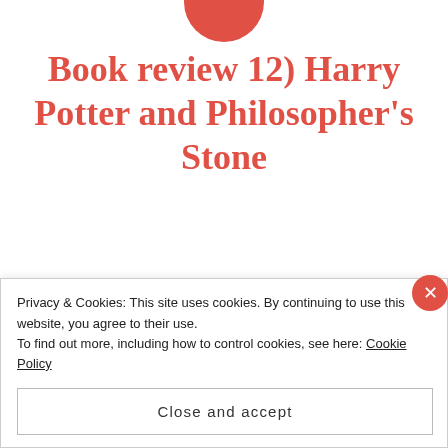[Figure (illustration): Red circle partially visible at top center of page, appears to be a logo or decorative element]
Book review 12) Harry Potter and Philosopher's Stone
Hi,
I have read this book already in Czech and heard it many times on audio and I have seen the movie couple of times. Now in Germany I have finished it in German so I decided to leave it a review here. Of course everybody knows Harry Potter so I will make it little bit different…
Privacy & Cookies: This site uses cookies. By continuing to use this website, you agree to their use.
To find out more, including how to control cookies, see here: Cookie Policy
Close and accept